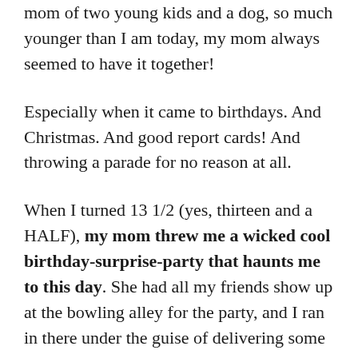mom of two young kids and a dog, so much younger than I am today, my mom always seemed to have it together!
Especially when it came to birthdays. And Christmas. And good report cards! And throwing a parade for no reason at all.
When I turned 13 1/2 (yes, thirteen and a HALF), my mom threw me a wicked cool birthday-surprise-party that haunts me to this day. She had all my friends show up at the bowling alley for the party, and I ran in there under the guise of delivering some cash to my brother who had supposedly forgotten it then SURPRISE! Except, being